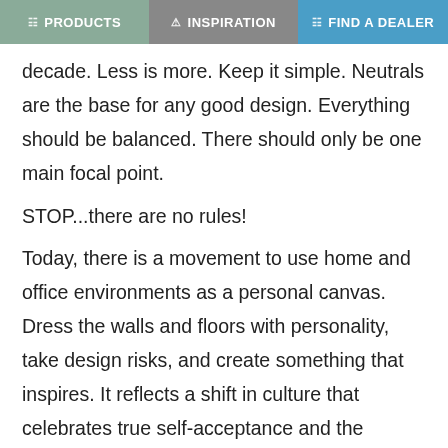PRODUCTS | INSPIRATION | FIND A DEALER
decade. Less is more. Keep it simple. Neutrals are the base for any good design. Everything should be balanced. There should only be one main focal point.

STOP...there are no rules!

Today, there is a movement to use home and office environments as a personal canvas. Dress the walls and floors with personality, take design risks, and create something that inspires. It reflects a shift in culture that celebrates true self-acceptance and the “perfectly imperfect” … with a hint of rebellion.

This is a maximalist response to the perennial